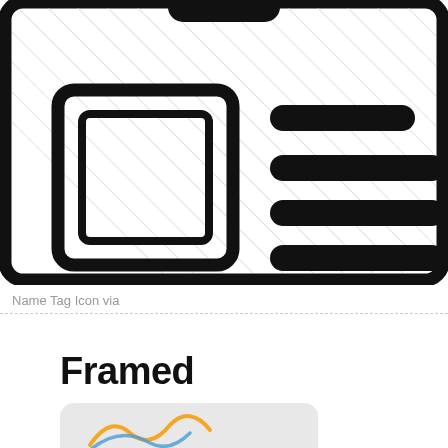[Figure (illustration): Name tag icon: a rectangular badge with a rounded-rectangle frame, diagonal hatching background, a small square placeholder on the left side, a rounded pill shape at the top center, and four horizontal rounded rectangle bars on the right side representing text lines.]
Name Tag Icon via
Framed
[Figure (logo): Partially visible rounded rectangle logo card with a mountain/wave icon, cut off at the bottom of the page.]